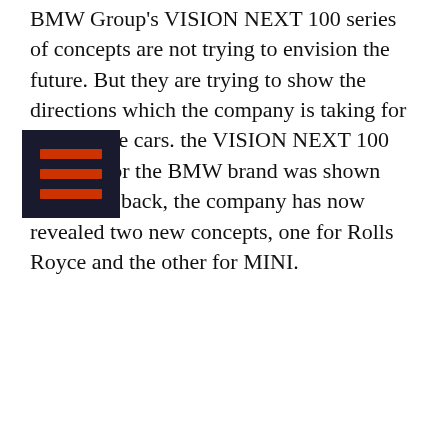BMW Group's VISION NEXT 100 series of concepts are not trying to envision the future. But they are trying to show the directions which the company is taking for their future cars. the VISION NEXT 100 concept for the BMW brand was shown sometime back, the company has now revealed two new concepts, one for Rolls Royce and the other for MINI.
[Figure (other): Hamburger menu icon with three horizontal orange/red lines on a dark navy background]